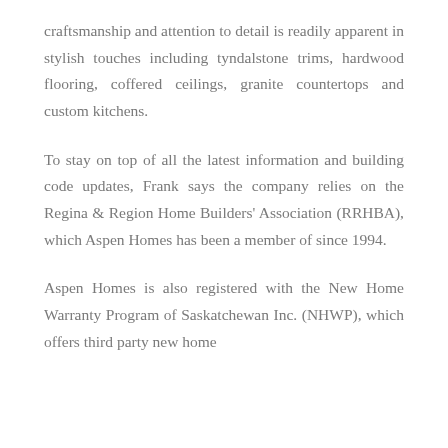craftsmanship and attention to detail is readily apparent in stylish touches including tyndalstone trims, hardwood flooring, coffered ceilings, granite countertops and custom kitchens.
To stay on top of all the latest information and building code updates, Frank says the company relies on the Regina & Region Home Builders' Association (RRHBA), which Aspen Homes has been a member of since 1994.
Aspen Homes is also registered with the New Home Warranty Program of Saskatchewan Inc. (NHWP), which offers third party new home